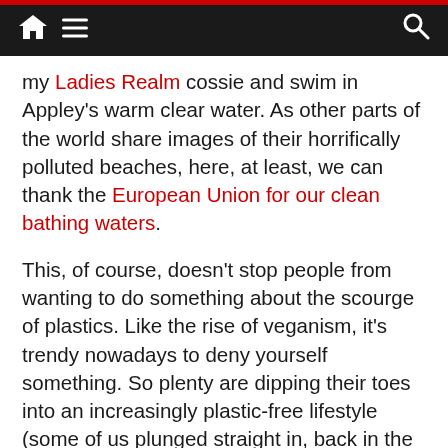Navigation bar with home, menu, and search icons
my Ladies Realm cossie and swim in Appley's warm clear water. As other parts of the world share images of their horrifically polluted beaches, here, at least, we can thank the European Union for our clean bathing waters.
This, of course, doesn't stop people from wanting to do something about the scourge of plastics. Like the rise of veganism, it's trendy nowadays to deny yourself something. So plenty are dipping their toes into an increasingly plastic-free lifestyle (some of us plunged straight in, back in the days of the Wombles). Other folks, including the organisers of Isle of Wight Day, are clacking their litter tongs together, eager to do a beach clean. A great aspiration but, in fact, anyone who is paying their